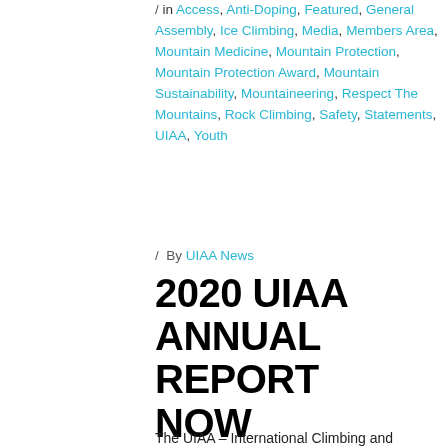/ in Access, Anti-Doping, Featured, General Assembly, Ice Climbing, Media, Members Area, Mountain Medicine, Mountain Protection, Mountain Protection Award, Mountain Sustainability, Mountaineering, Respect The Mountains, Rock Climbing, Safety, Statements, UIAA, Youth
/ By UIAA News
2020 UIAA ANNUAL REPORT NOW AVAILABLE
The UIAA – International Climbing and